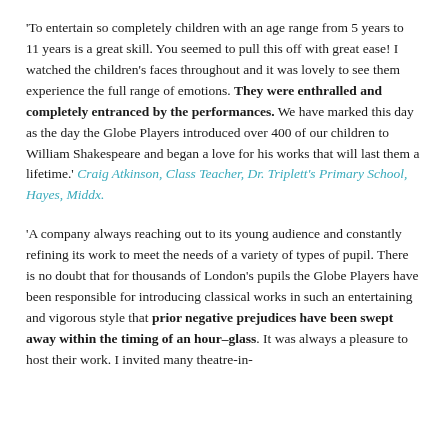'To entertain so completely children with an age range from 5 years to 11 years is a great skill. You seemed to pull this off with great ease! I watched the children's faces throughout and it was lovely to see them experience the full range of emotions. They were enthralled and completely entranced by the performances. We have marked this day as the day the Globe Players introduced over 400 of our children to William Shakespeare and began a love for his works that will last them a lifetime.' Craig Atkinson, Class Teacher, Dr. Triplett's Primary School, Hayes, Middx.
'A company always reaching out to its young audience and constantly refining its work to meet the needs of a variety of types of pupil. There is no doubt that for thousands of London's pupils the Globe Players have been responsible for introducing classical works in such an entertaining and vigorous style that prior negative prejudices have been swept away within the timing of an hour–glass. It was always a pleasure to host their work. I invited many theatre-in-